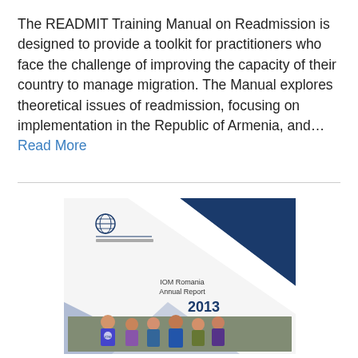The READMIT Training Manual on Readmission is designed to provide a toolkit for practitioners who face the challenge of improving the capacity of their country to manage migration. The Manual explores theoretical issues of readmission, focusing on implementation in the Republic of Armenia, and... Read More
[Figure (illustration): Cover image of IOM Romania Annual Report 2013 document. The cover shows a dark navy blue triangle in the upper right, a lighter blue/grey triangle in the lower left, the IOM globe logo at the top left, text reading 'IOM Romania Annual Report' and '2013' in bold, and a photograph of children at the bottom.]